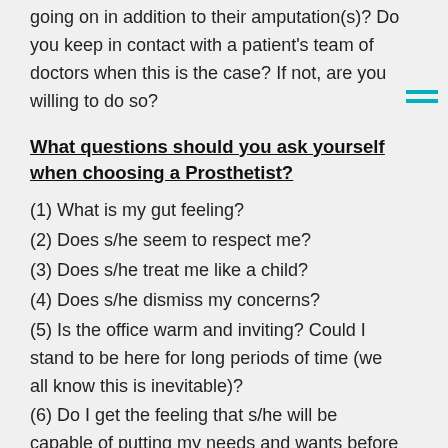going on in addition to their amputation(s)? Do you keep in contact with a patient's team of doctors when this is the case? If not, are you willing to do so?
What questions should you ask yourself when choosing a Prosthetist?
(1) What is my gut feeling?
(2) Does s/he seem to respect me?
(3) Does s/he treat me like a child?
(4) Does s/he dismiss my concerns?
(5) Is the office warm and inviting? Could I stand to be here for long periods of time (we all know this is inevitable)?
(6) Do I get the feeling that s/he will be capable of putting my needs and wants before his/her